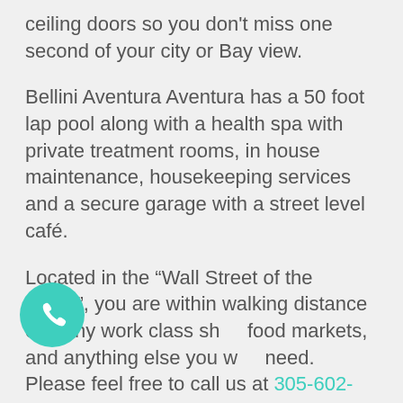ceiling doors so you don't miss one second of your city or Bay view.
Bellini Aventura Aventura has a 50 foot lap pool along with a health spa with private treatment rooms, in house maintenance, housekeeping services and a secure garage with a street level café.
Located in the “Wall Street of the South”, you are within walking distance of many work class shops, food markets, and anything else you would need. Please feel free to call us at 305-602-0908 or fill out our contact form to the right